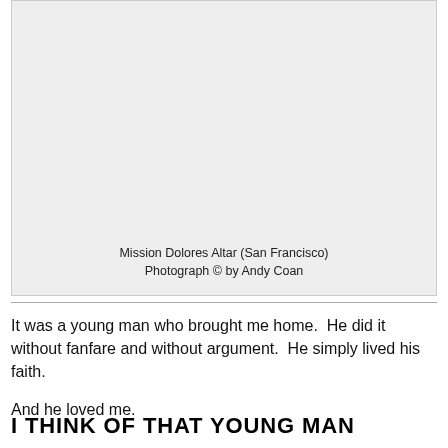[Figure (photo): Photograph placeholder (light gray box) of Mission Dolores Altar (San Francisco). Caption text visible within the image area.]
Mission Dolores Altar (San Francisco)
Photograph © by Andy Coan
It was a young man who brought me home.  He did it without fanfare and without argument.  He simply lived his faith.
And he loved me.
I THINK OF THAT YOUNG MAN